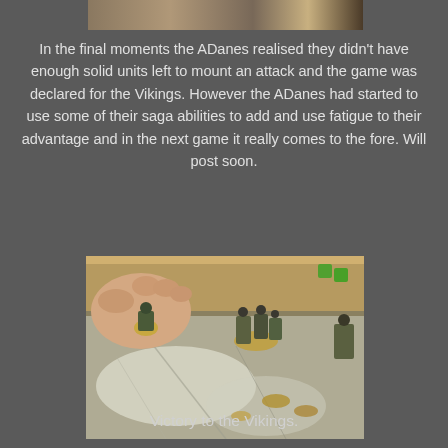[Figure (photo): Partial photo at top of page showing tabletop wargame miniatures on a gaming board, cropped at top]
In the final moments the ADanes realised they didn't have enough solid units left to mount an attack and the game was declared for the Vikings. However the ADanes had started to use some of their saga abilities to add and use fatigue to their advantage and in the next game it really comes to the fore. Will post soon.
[Figure (photo): Photo of a hand placing a wargame miniature on a textured gaming board with other miniatures and dice visible]
Victory to the Vikings.